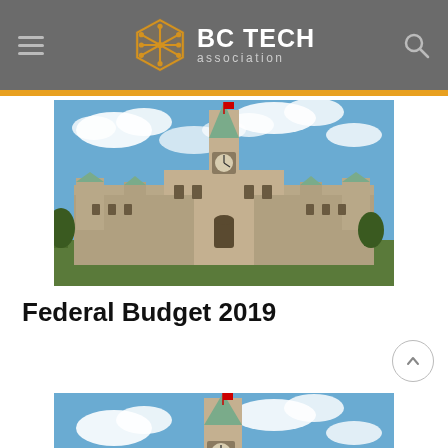BC TECH association
[Figure (photo): Photograph of the Canadian Parliament Buildings (Centre Block with Peace Tower) against a blue sky with white clouds]
Federal Budget 2019
[Figure (photo): Second photograph of the Canadian Parliament Buildings (Peace Tower) against a blue sky with white clouds, partially cropped]